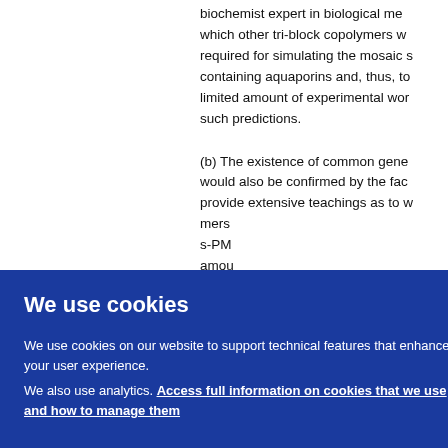biochemist expert in biological me… which other tri-block copolymers w… required for simulating the mosaic s… containing aquaporins and, thus, to… limited amount of experimental wor… such predictions.
(b) The existence of common gene… would also be confirmed by the fac… provide extensive teachings as to w… mers … s-PM… amou… claim… rs dif… the p…
We use cookies
We use cookies on our website to support technical features that enhance your user experience. We also use analytics. Access full information on cookies that we use and how to manage them